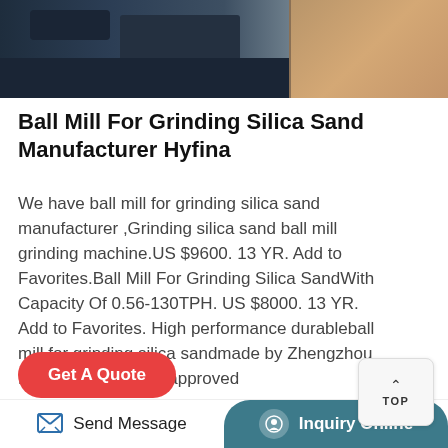[Figure (photo): Industrial ball mill machinery photograph showing metal equipment with dark casing and copper/brown colored material]
Ball Mill For Grinding Silica Sand Manufacturer Hyfina
We have ball mill for grinding silica sand manufacturer ,Grinding silica sand ball mill grinding machine.US $9600. 13 YR. Add to Favorites.Ball Mill For Grinding Silica SandWith Capacity Of 0.56-130TPH. US $8000. 13 YR. Add to Favorites. High performance durableball mill for grinding silica sandmade by Zhengzhou Hongji with ISO CE approved
Get A Quote
Send Message   Inquiry Online